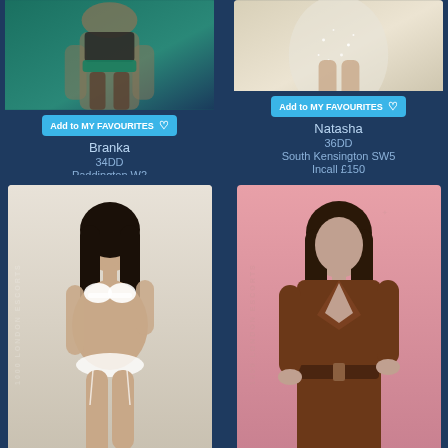[Figure (photo): Top portion of female figure in teal/green lingerie with stockings]
Add to MY FAVOURITES ♡
Branka
34DD
Paddington W2
Incall £150
[Figure (photo): Top portion of female figure in sparkly white/silver dress]
Add to MY FAVOURITES ♡
Natasha
36DD
South Kensington SW5
Incall £150
[Figure (photo): Full body photo of dark-haired woman in white lace lingerie, 1000 London Escorts watermark]
[Figure (photo): Photo of dark-haired woman in brown leather trench coat, 1000 London Escorts watermark, pink background]